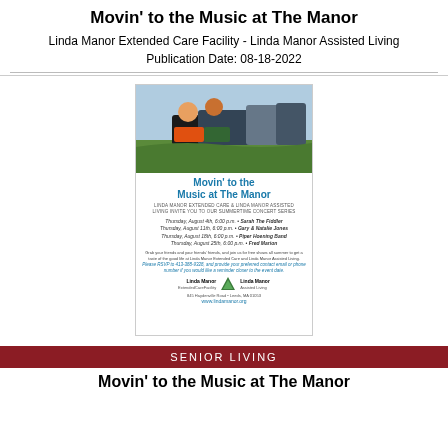Movin' to the Music at The Manor
Linda Manor Extended Care Facility - Linda Manor Assisted Living
Publication Date: 08-18-2022
[Figure (photo): Event flyer/poster for 'Movin' to the Music at The Manor' showing people seated outdoors at a concert, with event details listing dates in August 2022 and performer names. Includes Linda Manor Extended Care Facility and Linda Manor Assisted Living logos.]
SENIOR LIVING
Movin' to the Music at The Manor